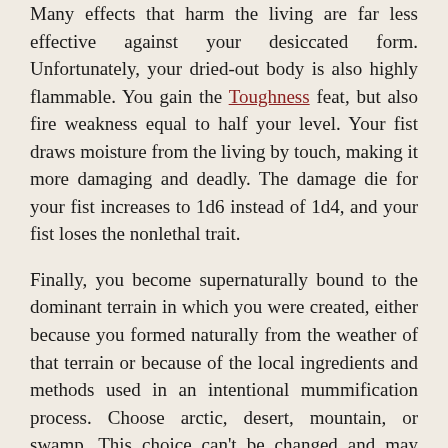Many effects that harm the living are far less effective against your desiccated form. Unfortunately, your dried-out body is also highly flammable. You gain the Toughness feat, but also fire weakness equal to half your level. Your fist draws moisture from the living by touch, making it more damaging and deadly. The damage die for your fist increases to 1d6 instead of 1d4, and your fist loses the nonlethal trait.
Finally, you become supernaturally bound to the dominant terrain in which you were created, either because you formed naturally from the weather of that terrain or because of the local ingredients and methods used in an intentional mummification process. Choose arctic, desert, mountain, or swamp. This choice can't be changed and may alter the effects of some of your feats.
Special You can't select another dedication feat until you have gained two other feats from the mummy archetype.